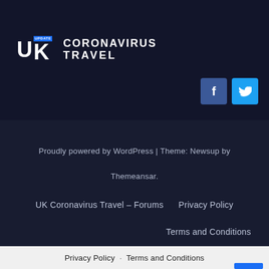[Figure (logo): UK Coronavirus Travel logo with white bold text and blue accent tag]
[Figure (infographic): Facebook and Twitter social media icons — blue square buttons with f and bird icons]
Proudly powered by WordPress | Theme: Newsup by Themeansar.
UK Coronavirus Travel – Forums    Privacy Policy
Terms and Conditions
Privacy Policy · Terms and Conditions